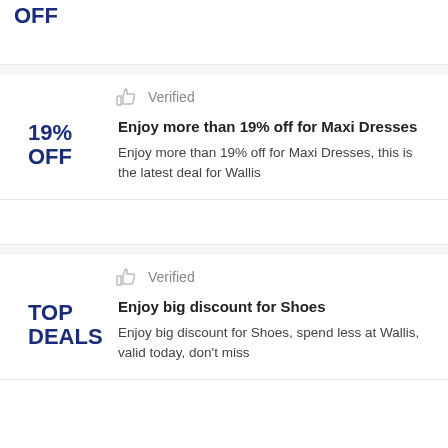OFF
Verified
Enjoy more than 19% off for Maxi Dresses
19%
OFF
Enjoy more than 19% off for Maxi Dresses, this is the latest deal for Wallis
Verified
Enjoy big discount for Shoes
TOP
DEALS
Enjoy big discount for Shoes, spend less at Wallis, valid today, don't miss